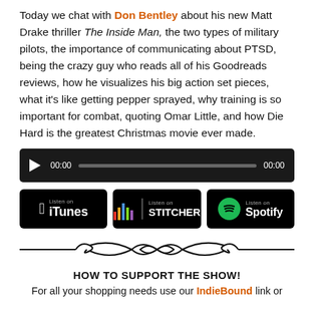Today we chat with Don Bentley about his new Matt Drake thriller The Inside Man, the two types of military pilots, the importance of communicating about PTSD, being the crazy guy who reads all of his Goodreads reviews, how he visualizes his big action set pieces, what it's like getting pepper sprayed, why training is so important for combat, quoting Omar Little, and how Die Hard is the greatest Christmas movie ever made.
[Figure (other): Audio player widget with dark background, play button, progress bar showing 00:00 / 00:00]
[Figure (other): Three podcast listening badges: Listen on iTunes, Listen on Stitcher, Listen on Spotify]
[Figure (other): Decorative ornamental divider with symmetrical flourishes]
HOW TO SUPPORT THE SHOW!
For all your shopping needs use our IndieBound link or